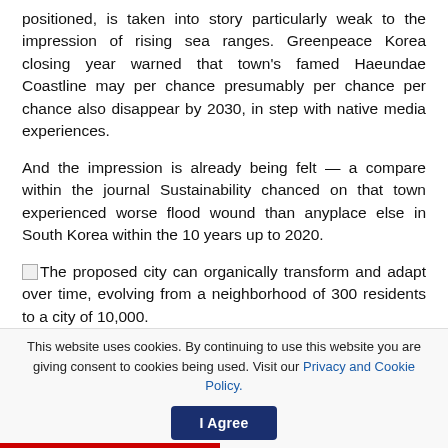positioned, is taken into story particularly weak to the impression of rising sea ranges. Greenpeace Korea closing year warned that town's famed Haeundae Coastline may per chance presumably per chance per chance also disappear by 2030, in step with native media experiences.
And the impression is already being felt — a compare within the journal Sustainability chanced on that town experienced worse flood wound than anyplace else in South Korea within the 10 years up to 2020.
The proposed city can organically transform and adapt over time, evolving from a neighborhood of 300 residents to a city of 10,000.
This website uses cookies. By continuing to use this website you are giving consent to cookies being used. Visit our Privacy and Cookie Policy.  [I Agree]